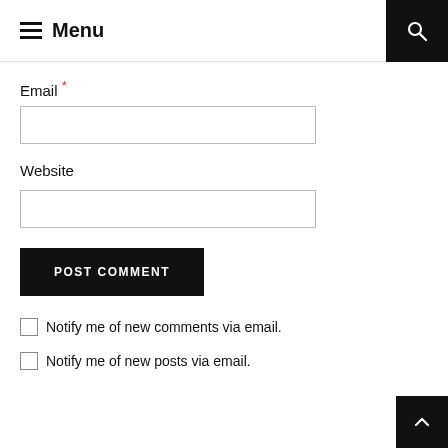Menu
Email *
Website
POST COMMENT
Notify me of new comments via email.
Notify me of new posts via email.